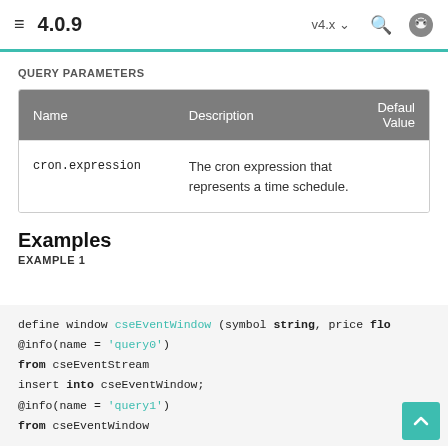4.0.9  v4.x
QUERY PARAMETERS
| Name | Description | Default Value |
| --- | --- | --- |
| cron.expression | The cron expression that represents a time schedule. |  |
Examples
EXAMPLE 1
define window cseEventWindow (symbol string, price flo...
@info(name = 'query0')
from cseEventStream
insert into cseEventWindow;
@info(name = 'query1')
from cseEventWindow